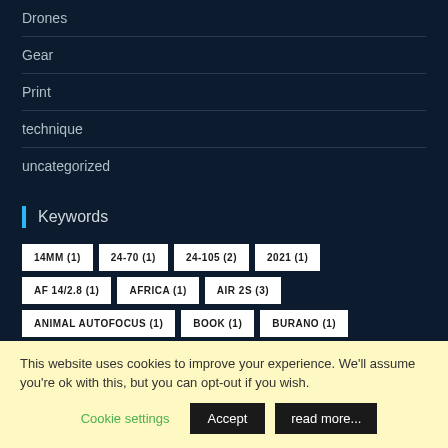Drones
Gear
Print
technique
uncategorized
Keywords
14MM (1)  24-70 (1)  24-105 (2)  2021 (1)  AF 14/2.8 (1)  AFRICA (1)  AIR 2S (3)  ANIMAL AUTOFOCUS (1)  BOOK (1)  BURANO (1)  CALENDAR (1)  CANON (1)  COMPARISON (1)
This website uses cookies to improve your experience. We'll assume you're ok with this, but you can opt-out if you wish.